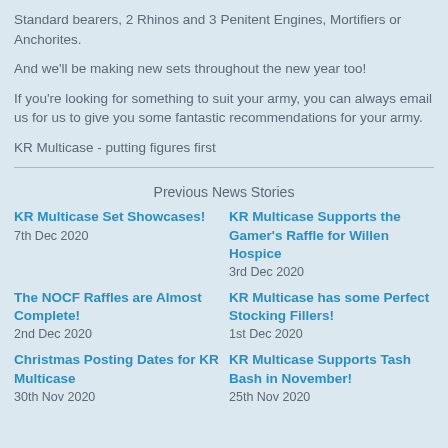Standard bearers, 2 Rhinos and 3 Penitent Engines, Mortifiers or Anchorites.
And we'll be making new sets throughout the new year too!
If you're looking for something to suit your army, you can always email us for us to give you some fantastic recommendations for your army.
KR Multicase - putting figures first
Previous News Stories
KR Multicase Set Showcases!
7th Dec 2020
KR Multicase Supports the Gamer's Raffle for Willen Hospice
3rd Dec 2020
The NOCF Raffles are Almost Complete!
2nd Dec 2020
KR Multicase has some Perfect Stocking Fillers!
1st Dec 2020
Christmas Posting Dates for KR Multicase
30th Nov 2020
KR Multicase Supports Tash Bash in November!
25th Nov 2020